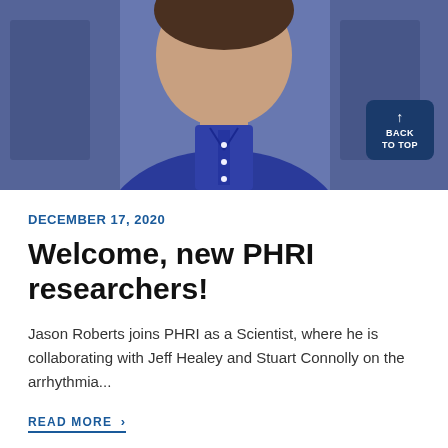[Figure (photo): Head and torso photo of a man in a blue button-up shirt, smiling, with a 'BACK TO TOP' button overlay in the top right corner]
DECEMBER 17, 2020
Welcome, new PHRI researchers!
Jason Roberts joins PHRI as a Scientist, where he is collaborating with Jeff Healey and Stuart Connolly on the arrhythmia...
READ MORE ›